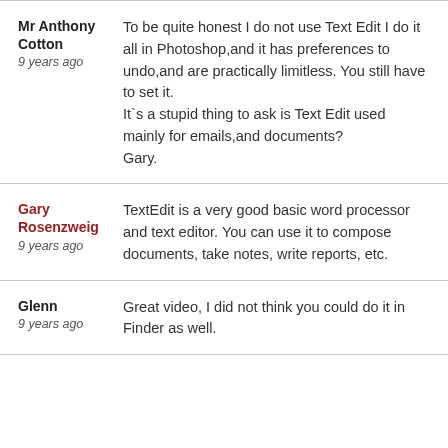Mr Anthony Cotton
9 years ago
To be quite honest I do not use Text Edit I do it all in Photoshop,and it has preferences to undo,and are practically limitless. You still have to set it.
It`s a stupid thing to ask is Text Edit used mainly for emails,and documents?
Gary.
Gary Rosenzweig
9 years ago
TextEdit is a very good basic word processor and text editor. You can use it to compose documents, take notes, write reports, etc.
Glenn
9 years ago
Great video, I did not think you could do it in Finder as well.